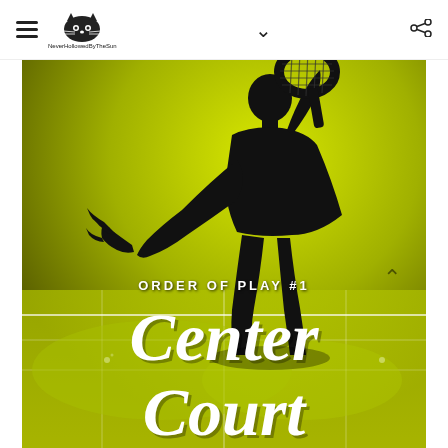NeverHollowedByTheSun (logo) | chevron | share
[Figure (illustration): Book cover image: silhouette of a tennis player mid-swing with a racket against a yellow-green background. Text reads 'ORDER OF PLAY #1' above large stylized cursive text 'Center Court' partially cut off at bottom.]